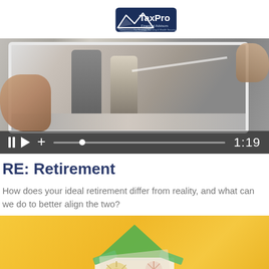[Figure (logo): TaxPro Financial Advisors logo — dark blue shield/mountain shape with white text 'TaxPro' and smaller 'Financial Advisors' subtitle]
[Figure (screenshot): Video player showing a person holding a tablet displaying two people walking; video controls bar at bottom showing pause, play, plus icons, progress bar, and time 1:19]
RE: Retirement
How does your ideal retirement differ from reality, and what can we do to better align the two?
[Figure (photo): Yellow/golden background with decorative paper items resembling a house shape taped with green painter's tape, featuring starburst and snowflake patterns]